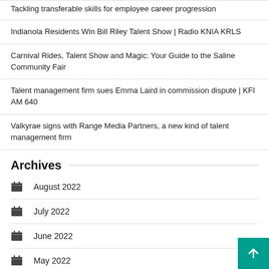Tackling transferable skills for employee career progression
Indianola Residents Win Bill Riley Talent Show | Radio KNIA KRLS
Carnival Rides, Talent Show and Magic: Your Guide to the Saline Community Fair
Talent management firm sues Emma Laird in commission dispute | KFI AM 640
Valkyrae signs with Range Media Partners, a new kind of talent management firm
Archives
August 2022
July 2022
June 2022
May 2022